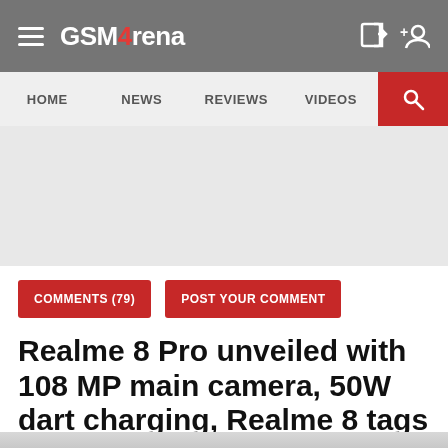GSM Arena
HOME  NEWS  REVIEWS  VIDEOS
[Figure (other): Advertisement banner placeholder, light grey background]
COMMENTS (79)  POST YOUR COMMENT
Realme 8 Pro unveiled with 108 MP main camera, 50W dart charging, Realme 8 tags along
PETER, 24 MARCH 2021